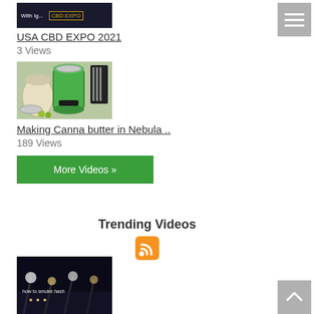[Figure (screenshot): Partial video thumbnail at top showing dark image with text 'With Ig... CBD EXPO']
USA CBD EXPO 2021
3 Views
[Figure (photo): Thumbnail showing green Nebula machine with cannabis butter ingredients]
Making Canna butter in Nebula ..
189 Views
More Videos »
Trending Videos
[Figure (other): RSS feed icon in orange]
[Figure (screenshot): Video thumbnail at bottom showing dark concert lights with text 'how to smoke hash']